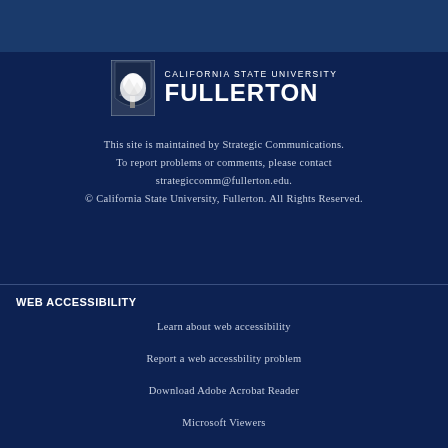[Figure (logo): California State University Fullerton logo with tree emblem and university name]
This site is maintained by Strategic Communications. To report problems or comments, please contact strategiccomm@fullerton.edu. © California State University, Fullerton. All Rights Reserved.
WEB ACCESSIBILITY
Learn about web accessibility
Report a web accessbility problem
Download Adobe Acrobat Reader
Microsoft Viewers